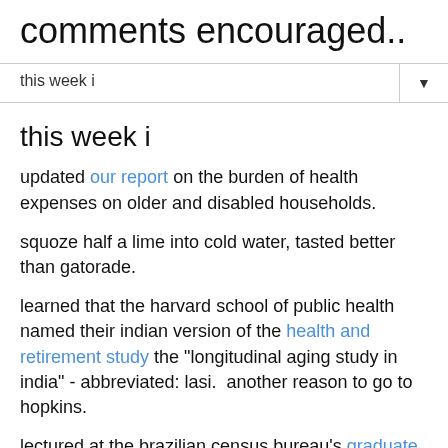comments encouraged..
this week i
this week i
updated our report on the burden of health expenses on older and disabled households.
squoze half a lime into cold water, tasted better than gatorade.
learned that the harvard school of public health named their indian version of the health and retirement study the "longitudinal aging study in india" - abbreviated: lasi.  another reason to go to hopkins.
lectured at the brazilian census bureau's graduate school of